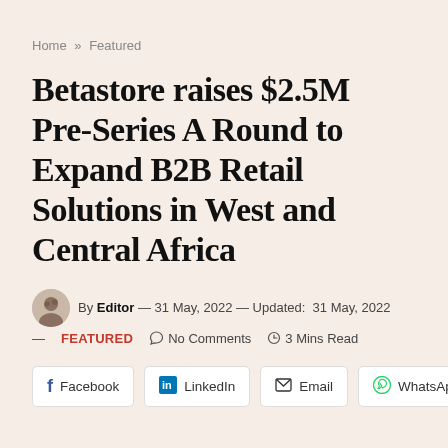Home » Featured
Betastore raises $2.5M Pre-Series A Round to Expand B2B Retail Solutions in West and Central Africa
By Editor — 31 May, 2022 — Updated: 31 May, 2022 — FEATURED  No Comments  3 Mins Read
[Figure (infographic): Social share buttons: Facebook, LinkedIn, Email, WhatsApp]